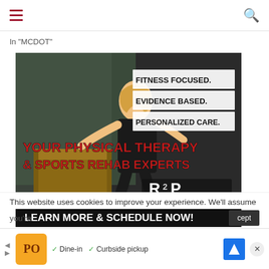Navigation header with hamburger menu and search icon
In "MCDOT"
[Figure (photo): Advertisement for Rehab 2 Perform physical therapy showing a woman exercising on a box. Text reads: FITNESS FOCUSED. EVIDENCE BASED. PERSONALIZED CARE. YOUR PHYSICAL THERAPY & SPORTS REHAB EXPERTS. LEARN MORE & SCHEDULE NOW! R2P Rehab 2 Perform logo.]
This website uses cookies to improve your experience. We'll assume
you're
cept
[Figure (infographic): Bottom ad bar showing restaurant with logo, Dine-in and Curbside pickup options, navigation arrow icon, and close button]